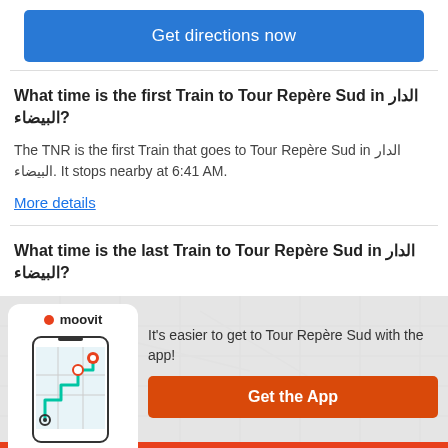[Figure (other): Blue 'Get directions now' button]
What time is the first Train to Tour Repère Sud in الدار البيضاء?
The TNR is the first Train that goes to Tour Repère Sud in الدار البيضاء. It stops nearby at 6:41 AM.
More details
What time is the last Train to Tour Repère Sud in الدار البيضاء?
The TNR is the last Train that goes to Tour Repère Sud in الدار
[Figure (screenshot): Moovit app promotion banner with phone illustration, map background, text 'It's easier to get to Tour Repère Sud with the app!' and orange 'Get the App' button]